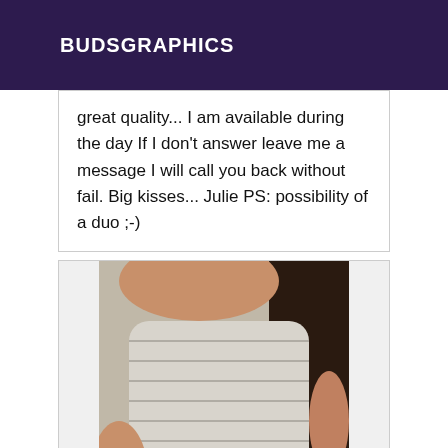BUDSGRAPHICS
great quality... I am available during the day If I don't answer leave me a message I will call you back without fail. Big kisses... Julie PS: possibility of a duo ;-)
[Figure (photo): Photo of a person wearing a tight striped bodycon dress, torso visible]